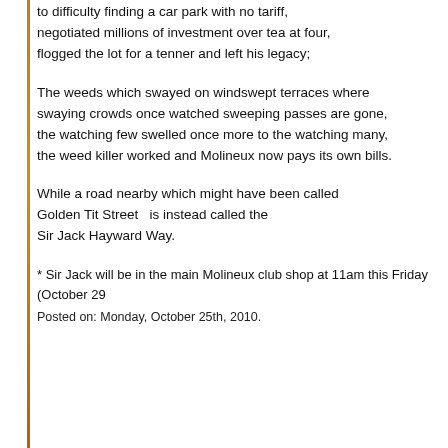to difficulty finding a car park with no tariff, negotiated millions of investment over tea at four, flogged the lot for a tenner and left his legacy;
The weeds which swayed on windswept terraces where swaying crowds once watched sweeping passes are gone, the watching few swelled once more to the watching many, the weed killer worked and Molineux now pays its own bills.
While a road nearby which might have been called Golden Tit Street  is instead called the Sir Jack Hayward Way.
* Sir Jack will be in the main Molineux club shop at 11am this Friday (October 29
Posted on: Monday, October 25th, 2010.